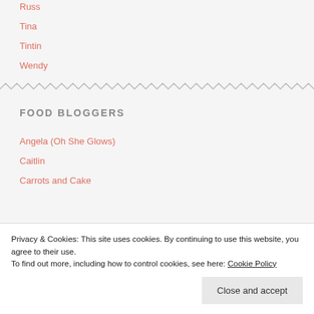Russ
Tina
Tintin
Wendy
FOOD BLOGGERS
Angela (Oh She Glows)
Caitlin
Carrots and Cake
Privacy & Cookies: This site uses cookies. By continuing to use this website, you agree to their use.
To find out more, including how to control cookies, see here: Cookie Policy
Close and accept